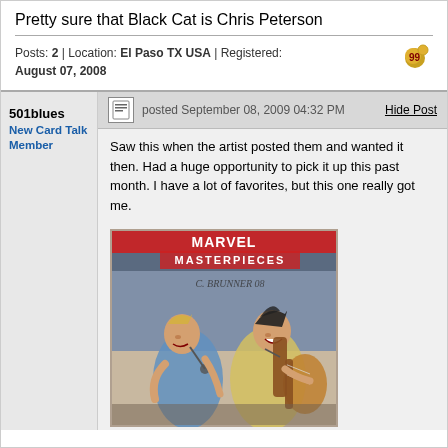Pretty sure that Black Cat is Chris Peterson
Posts: 2 | Location: El Paso TX USA | Registered: August 07, 2008
501blues
New Card Talk Member
posted September 08, 2009 04:32 PM
Hide Post
Saw this when the artist posted them and wanted it then. Had a huge opportunity to pick it up this past month. I have a lot of favorites, but this one really got me.
[Figure (illustration): A Marvel Masterpieces trading card sketch showing two female characters in a rock band scene. Signed 'C. BRUNNER 08'. One character sings into a microphone in a blue outfit, the other plays guitar in a yellow sleeveless top. The card header reads 'MARVEL MASTERPIECES' in red and white text.]